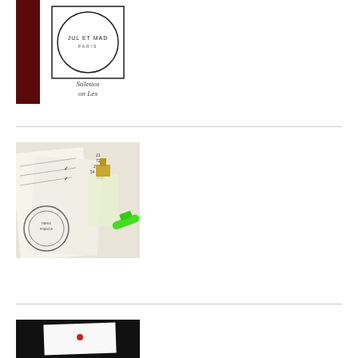[Figure (photo): White perfume/fragrance box with 'JUL ET MAD PARIS' and 'Stilettos on Lex' text, on dark red/black background]
[Figure (photo): Glass perfume bottle with gold cap sitting on handwritten notes/papers with stamps and a green highlighter marker]
[Figure (photo): Dark background with partial view of a white card or paper]